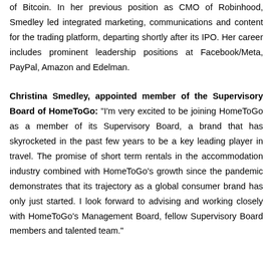of Bitcoin. In her previous position as CMO of Robinhood, Smedley led integrated marketing, communications and content for the trading platform, departing shortly after its IPO. Her career includes prominent leadership positions at Facebook/Meta, PayPal, Amazon and Edelman.
Christina Smedley, appointed member of the Supervisory Board of HomeToGo: "I'm very excited to be joining HomeToGo as a member of its Supervisory Board, a brand that has skyrocketed in the past few years to be a key leading player in travel. The promise of short term rentals in the accommodation industry combined with HomeToGo's growth since the pandemic demonstrates that its trajectory as a global consumer brand has only just started. I look forward to advising and working closely with HomeToGo's Management Board, fellow Supervisory Board members and talented team."